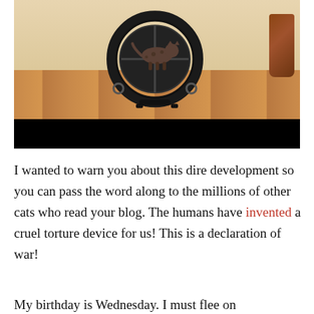[Figure (photo): A cat walking on a circular cat exercise wheel/treadmill in a room with wooden floors. The wheel is large and black/dark colored. Below the photo is a black bar (possibly a video player bar). The image appears to be from a blog post.]
I wanted to warn you about this dire development so you can pass the word along to the millions of other cats who read your blog. The humans have invented a cruel torture device for us! This is a declaration of war!
My birthday is Wednesday. I must flee on